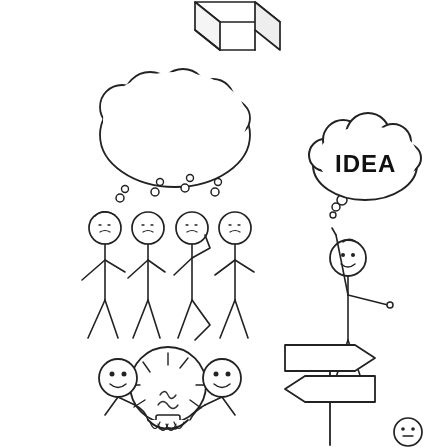[Figure (illustration): A collection of stick figure cartoons on white background. Top center: a partially visible 3D box/cube shape. Middle left: four stick figures standing together with a large thought bubble cloud above them (blank inside). Middle right: a single stick figure with one arm raised pointing up, with a thought bubble containing the word 'IDEA' in bold letters. Bottom left: two stick figures holding a large light bulb together with motion lines. Bottom right: a directional signpost with two blank arrow signs pointing in opposite directions, and a small stick figure head peeking from the bottom right corner.]